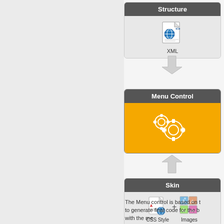[Figure (flowchart): Diagram showing Structure (XML) flowing down via arrow into Menu Control (gears icon on orange background), with Skin (CSS Style + Images) flowing up via arrow into Menu Control. Partial view — right half of diagram visible.]
The Menu control is based on t... to generate final code for the br... with the me...